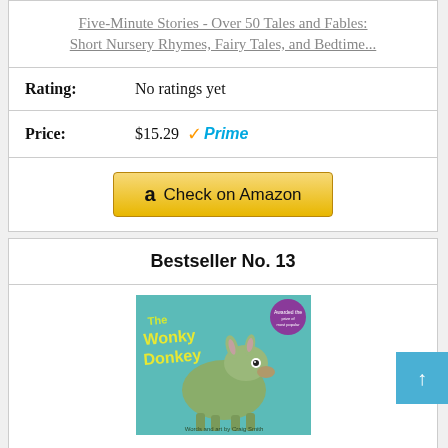Five-Minute Stories - Over 50 Tales and Fables: Short Nursery Rhymes, Fairy Tales, and Bedtime...
Rating: No ratings yet
Price: $15.29 Prime
Check on Amazon
Bestseller No. 13
[Figure (photo): Book cover of The Wonky Donkey with teal/turquoise background showing a donkey illustration with yellow stylized title text]